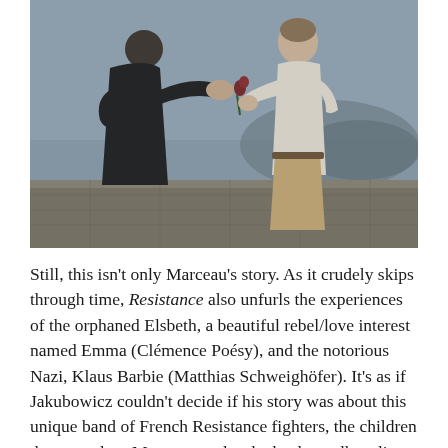[Figure (photo): Two people facing each other in a dramatic scene outdoors. The person on the left wears dark clothing and appears to be handing something to the person on the right who wears a white shirt and tan trousers. Stone wall and hilly landscape in the background under an overcast sky.]
Still, this isn't only Marceau's story. As it crudely skips through time, Resistance also unfurls the experiences of the orphaned Elsbeth, a beautiful rebel/love interest named Emma (Clémence Poésy), and the notorious Nazi, Klaus Barbie (Matthias Schweighöfer). It's as if Jakubowicz couldn't decide if his story was about this unique band of French Resistance fighters, the children they saved, or Marceau, and so he haphazardly split the difference. This makes for a movie that has a halted pace and